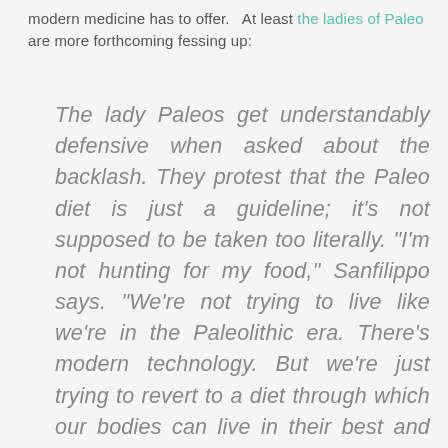modern medicine has to offer.  At least the ladies of Paleo are more forthcoming fessing up:
The lady Paleos get understandably defensive when asked about the backlash. They protest that the Paleo diet is just a guideline; it's not supposed to be taken too literally. "I'm not hunting for my food," Sanfilippo says. "We're not trying to live like we're in the Paleolithic era. There's modern technology. But we're just trying to revert to a diet through which our bodies can live in their best and healthiest forms."